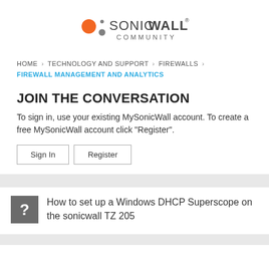[Figure (logo): SonicWall Community logo with orange and grey dots and bold SONICWALL text with COMMUNITY subtitle]
HOME › TECHNOLOGY AND SUPPORT › FIREWALLS › FIREWALL MANAGEMENT AND ANALYTICS
JOIN THE CONVERSATION
To sign in, use your existing MySonicWall account. To create a free MySonicWall account click "Register".
Sign In   Register
How to set up a Windows DHCP Superscope on the sonicwall TZ 205